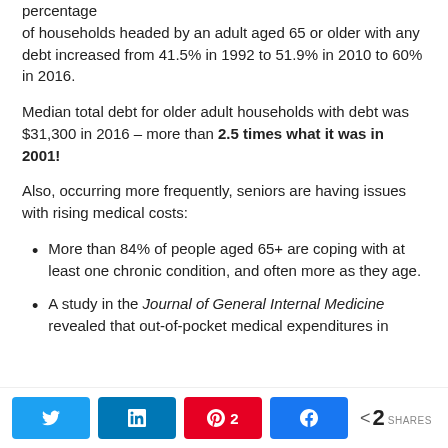percentage of households headed by an adult aged 65 or older with any debt increased from 41.5% in 1992 to 51.9% in 2010 to 60% in 2016.
Median total debt for older adult households with debt was $31,300 in 2016 – more than 2.5 times what it was in 2001!
Also, occurring more frequently, seniors are having issues with rising medical costs:
More than 84% of people aged 65+ are coping with at least one chronic condition, and often more as they age.
A study in the Journal of General Internal Medicine revealed that out-of-pocket medical expenditures in